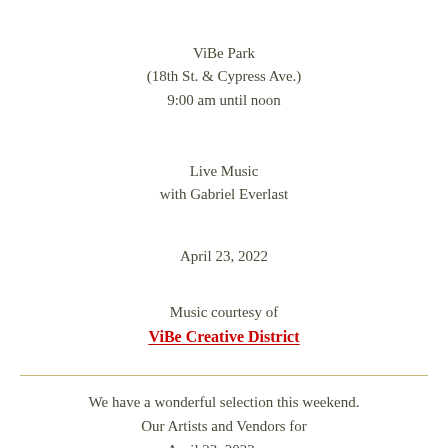ViBe Park
(18th St. & Cypress Ave.)
9:00 am until noon
Live Music
with Gabriel Everlast
April 23, 2022
Music courtesy of
ViBe Creative District
We have a wonderful selection this weekend.
Our Artists and Vendors for
April 23, 2022 are: